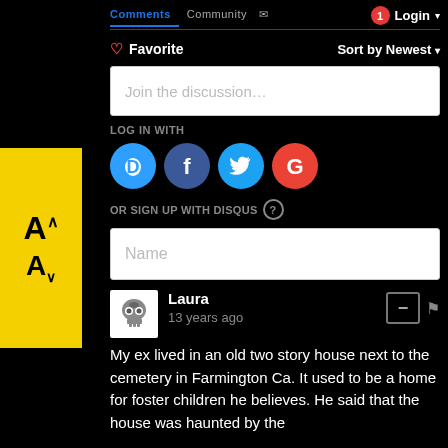Comments  Community  Login
♡ Favorite    Sort by Newest
Join the discussion…
LOG IN WITH
[Figure (other): Social login icons: Disqus (blue D), Facebook (dark blue f), Twitter (light blue bird), Google (red G)]
OR SIGN UP WITH DISQUS ?
Name
Laura
13 years ago
My ex lived in an old two story house next to the cemetery in Farmington Ca. It used to be a home for foster children he believes. He said that the house was haunted by the